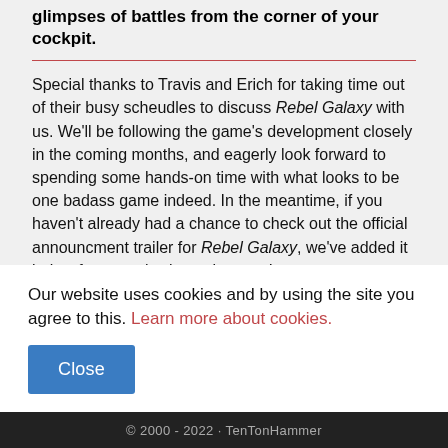glimpses of battles from the corner of your cockpit.
Special thanks to Travis and Erich for taking time out of their busy scheudles to discuss Rebel Galaxy with us. We'll be following the game's development closely in the coming months, and eagerly look forward to spending some hands-on time with what looks to be one badass game indeed. In the meantime, if you haven't already had a chance to check out the official announcment trailer for Rebel Galaxy, we've added it below for your viewing enjoyment!
[Figure (screenshot): Dark video thumbnail strip showing partial image of Rebel Galaxy trailer]
Our website uses cookies and by using the site you agree to this. Learn more about cookies.
Close
© 2000 - 2022 · TenTonHammer